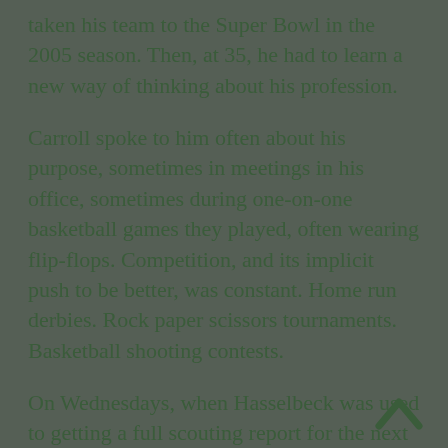taken his team to the Super Bowl in the 2005 season. Then, at 35, he had to learn a new way of thinking about his profession.
Carroll spoke to him often about his purpose, sometimes in meetings in his office, sometimes during one-on-one basketball games they played, often wearing flip-flops. Competition, and its implicit push to be better, was constant. Home run derbies. Rock paper scissors tournaments. Basketball shooting contests.
On Wednesdays, when Hasselbeck was used to getting a full scouting report for the next game, Carroll never mentioned the opponent. “It was all about how good can we be being the best version of us,” Hasselbeck said.
Once, before a run-of-the-mill game, Carroll had a